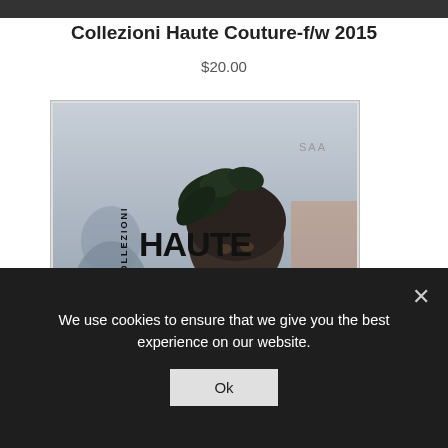Collezioni Haute Couture-f/w 2015
$20.00
[Figure (photo): Magazine cover of Collezioni Haute Couture showing a fashion model with dark hair and foliage headpiece, wearing a lace garment with black strap, with 'COLLEZIONI HAUTE COUTURE' and 'Sposa' text overlaid]
We use cookies to ensure that we give you the best experience on our website.
Ok